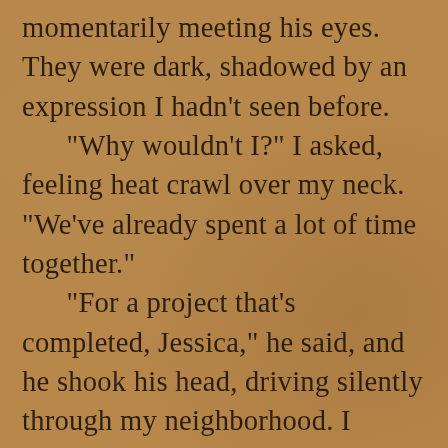momentarily meeting his eyes. They were dark, shadowed by an expression I hadn't seen before. “Why wouldn't I?” I asked, feeling heat crawl over my neck. “We've already spent a lot of time together.” “For a project that's completed, Jessica,” he said, and he shook his head, driving silently through my neighborhood. I waited for him to speak, but he didn't. Soon, we were at the end of my driveway. Eric shoved the gears